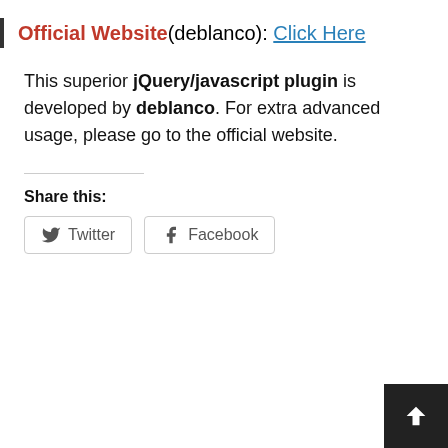Official Website(deblanco): Click Here
This superior jQuery/javascript plugin is developed by deblanco. For extra advanced usage, please go to the official website.
Share this:
[Figure (other): Twitter and Facebook share buttons]